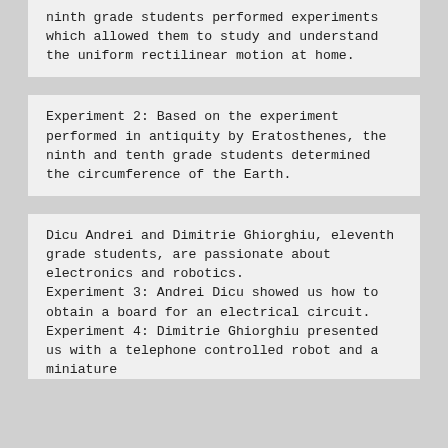ninth grade students performed experiments which allowed them to study and understand the uniform rectilinear motion at home.
Experiment 2: Based on the experiment performed in antiquity by Eratosthenes, the ninth and tenth grade students determined the circumference of the Earth.
Dicu Andrei and Dimitrie Ghiorghiu, eleventh grade students, are passionate about electronics and robotics.
Experiment 3: Andrei Dicu showed us how to obtain a board for an electrical circuit.
Experiment 4: Dimitrie Ghiorghiu presented us with a telephone controlled robot and a miniature